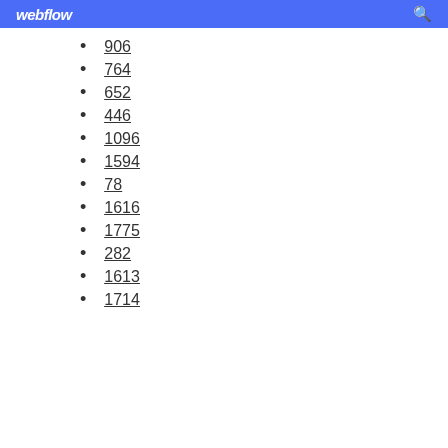webflow
906
764
652
446
1096
1594
78
1616
1775
282
1613
1714